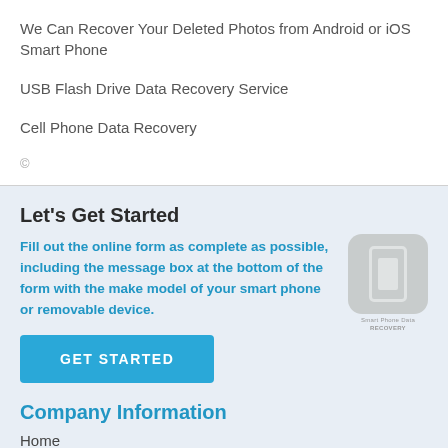We Can Recover Your Deleted Photos from Android or iOS Smart Phone
USB Flash Drive Data Recovery Service
Cell Phone Data Recovery
©
Let's Get Started
Fill out the online form as complete as possible, including the message box at the bottom of the form with the make model of your smart phone or removable device.
[Figure (logo): Smart Phone Data Recovery logo — rounded square icon with phone symbol and text 'Smart Phone Data RECOVERY']
GET STARTED
Company Information
Home